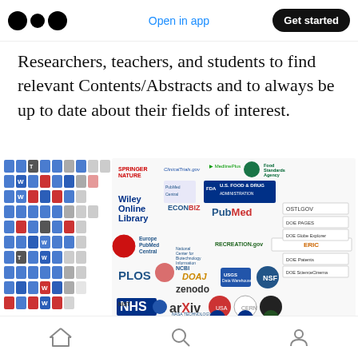Medium logo | Open in app | Get started
Researchers, teachers, and students to find relevant Contents/Abstracts and to always be up to date about their fields of interest.
[Figure (infographic): Grid of colorful file/document icons on the left, and a collage of publisher and database logos on the right including Springer Nature, ClinicalTrials.gov, MedlinePlus, Food Standards Agency, Wiley Online Library, PubMed Central, FDA U.S. Food & Drug Administration, EconBiz, PubMed, OSTLGOV, Europe PubMed Central, NCBI, RECREATION.gov, ERIC, DOE, PLOS, DOAJ, Zenodo, USGS, NSF, NHS, arXiv, CERN, NIST, NASA Technology Transfer Program, NASA, and other logos.]
Home | Search | Profile